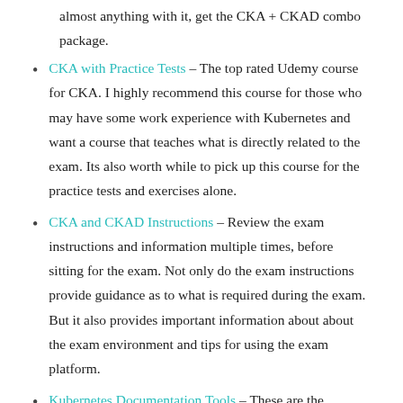almost anything with it, get the CKA + CKAD combo package.
CKA with Practice Tests – The top rated Udemy course for CKA. I highly recommend this course for those who may have some work experience with Kubernetes and want a course that teaches what is directly related to the exam. Its also worth while to pick up this course for the practice tests and exercises alone.
CKA and CKAD Instructions – Review the exam instructions and information multiple times, before sitting for the exam. Not only do the exam instructions provide guidance as to what is required during the exam. But it also provides important information about about the exam environment and tips for using the exam platform.
Kubernetes Documentation Tools – These are the